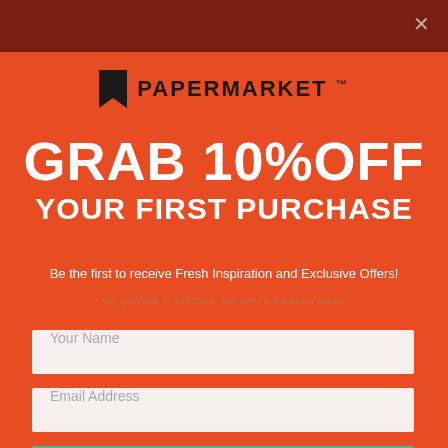[Figure (logo): PaperMarket logo with bookmark icon and brand name]
GRAB 10%OFF YOUR FIRST PURCHASE
Be the first to receive Fresh Inspiration and Exclusive Offers!
*not applicable to workshops, sale items and selected brands.
Your Name
Email Address
SUBSCRIBE NOW!